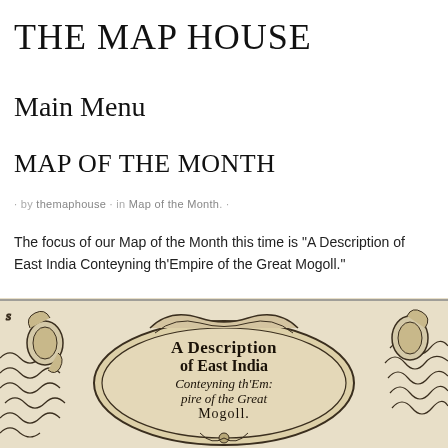THE MAP HOUSE
Main Menu
MAP OF THE MONTH
· by themaphouse · in Map of the Month. ·
The focus of our Map of the Month this time is “A Description of East India Conteyning th’Empire of the Great Mogoll.”
[Figure (illustration): Antique cartouche from an old map titled 'A Description of East India Conteyning th'Em: pire of the Great Mogoll.' with decorative scrollwork and engraved landscape elements.]